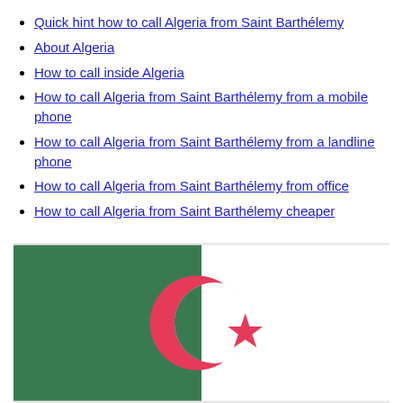Quick hint how to call Algeria from Saint Barthélemy
About Algeria
How to call inside Algeria
How to call Algeria from Saint Barthélemy from a mobile phone
How to call Algeria from Saint Barthélemy from a landline phone
How to call Algeria from Saint Barthélemy from office
How to call Algeria from Saint Barthélemy cheaper
[Figure (illustration): Algeria national flag - green and white vertical halves with a red crescent and star in the center]